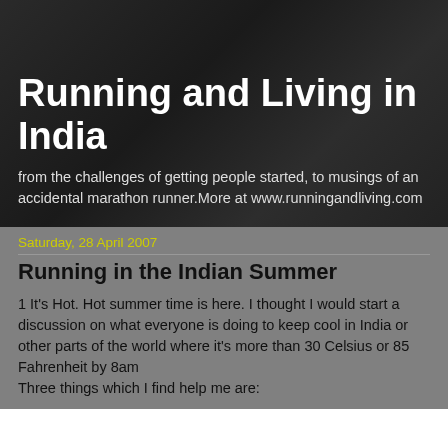Running and Living in India
from the challenges of getting people started, to musings of an accidental marathon runner.More at www.runningandliving.com
Saturday, 28 April 2007
Running in the Indian Summer
1 It's Hot. Hot summer time is here. I thought I would start a discussion on what everyone is doing to keep cool in India or other parts of the world where it's more than 30 Celsius or 85 Fahrenheit by 8am
Three things which I find help me are: